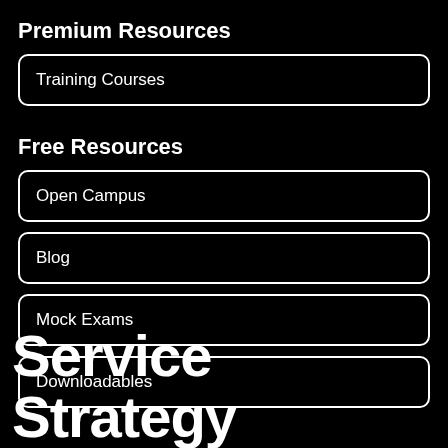Premium Resources
Training Courses
Free Resources
Open Campus
Blog
Mock Exams
Downloadables
Service Strategy